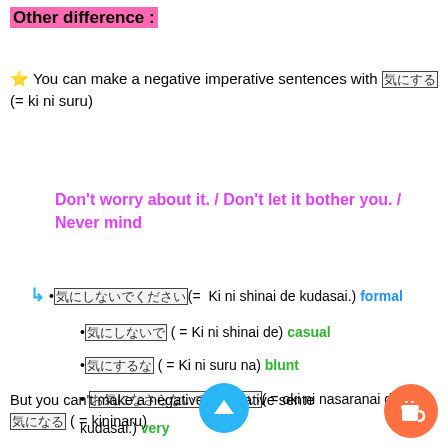Other difference :
⭐ You can make a negative imperative sentences with 気にする (= ki ni suru)
Don't worry about it. / Don't let it bother you. / Never mind
• 気にしないでください(= Ki ni shinai de kudasai.) formal
• 気にしないで ( = Ki ni shinai de) casual
• 気にするな ( = Ki ni suru na) blunt
• お気になさらないでください( = oki ni nasaranai de kudasai.) very polite
But you can't make a negative imperative sentence with 気になる ( = kininaru)